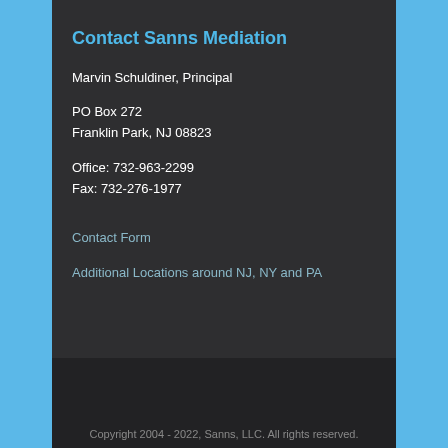Contact Sanns Mediation
Marvin Schuldiner, Principal
PO Box 272
Franklin Park, NJ 08823
Office: 732-963-2299
Fax: 732-276-1977
Contact Form
Additional Locations around NJ, NY and PA
Copyright 2004 - 2022, Sanns, LLC. All rights reserved.